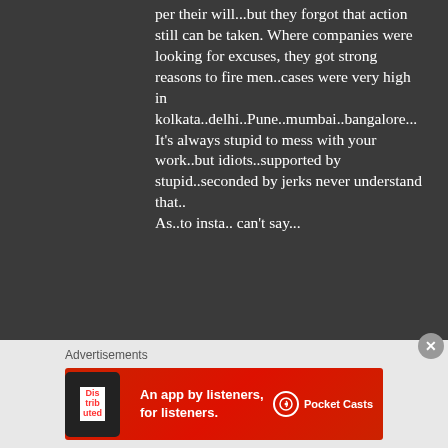per their will...but they forgot that action still can be taken. Where companies were looking for excuses, they got strong reasons to fire men..cases were very high in kolkata..delhi..Pune..mumbai..bangalore...
It's always stupid to mess with your work..but idiots..supported by stupid..seconded by jerks never understand that..
As..to insta.. can't say...
Advertisements
[Figure (infographic): Pocket Casts advertisement banner: red background, text 'An app by listeners, for listeners.' with Pocket Casts logo and phone image showing 'Distributed' text]